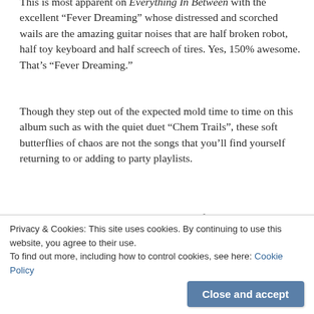This is most apparent on Everything In Between with the excellent “Fever Dreaming” whose distressed and scorched wails are the amazing guitar noises that are half broken robot, half toy keyboard and half screech of tires. Yes, 150% awesome. That’s “Fever Dreaming.”
Though they step out of the expected mold time to time on this album such as with the quiet duet “Chem Trails”, these soft butterflies of chaos are not the songs that you’ll find yourself returning to or adding to party playlists.
Everything in Between isn’t quite a move forward or evolution of the sound No Age has been kicking down stairs since their first compilation Weirdo Rippers. Rather, it’s a lateral move from the excellent Nouns…
out of place songs. Everything In Between contains
Privacy & Cookies: This site uses cookies. By continuing to use this website, you agree to their use.
To find out more, including how to control cookies, see here: Cookie Policy
Close and accept